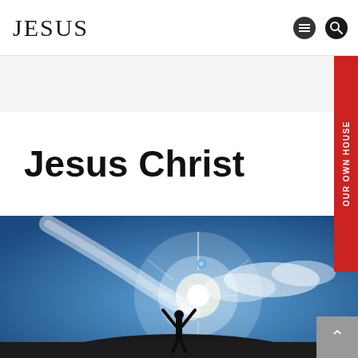JESUS
Jesus Christ
[Figure (photo): Person standing on a hilltop with arms raised toward a bright sun shining in a blue sky with clouds, silhouetted against the light, conveying triumph or worship.]